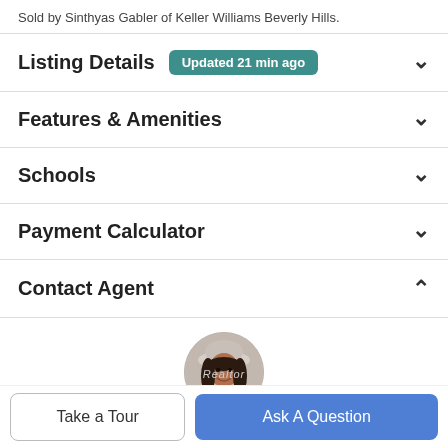Sold by Sinthyas Gabler of Keller Williams Beverly Hills.
Listing Details  Updated 21 min ago
Features & Amenities
Schools
Payment Calculator
Contact Agent
[Figure (photo): Circular profile photo of a real estate agent woman with long dark hair and a light-colored hat, smiling]
Take a Tour
Ask A Question